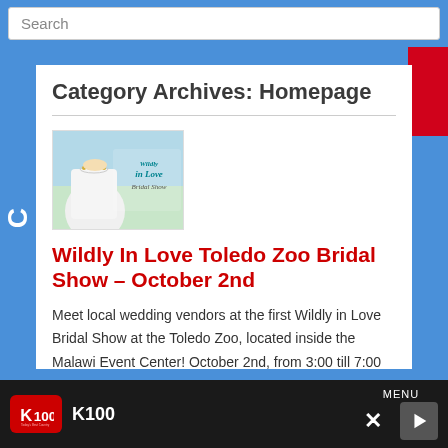Search
Category Archives: Homepage
[Figure (photo): Wildly In Love Bridal Show promotional image showing a bride in a strapless white dress with a jeweled necklace, with script text 'Wildly in Love Bridal Show']
Wildly In Love Toledo Zoo Bridal Show – October 2nd
Meet local wedding vendors at the first Wildly in Love Bridal Show at the Toledo Zoo, located inside the Malawi Event Center! October 2nd, from 3:00 till 7:00 PM | Get a sneak peek
K100  MENU × ▶